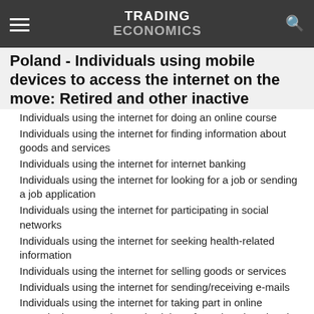TRADING ECONOMICS
Poland - Individuals using mobile devices to access the internet on the move: Retired and other inactive
Individuals using the internet for doing an online course
Individuals using the internet for finding information about goods and services
Individuals using the internet for internet banking
Individuals using the internet for looking for a job or sending a job application
Individuals using the internet for participating in social networks
Individuals using the internet for seeking health-related information
Individuals using the internet for selling goods or services
Individuals using the internet for sending/receiving e-mails
Individuals using the internet for taking part in online consultations or voting: Active labour force (employed and unemployed)
Individuals using the internet for taking part in online consultations or voting: All Individuals